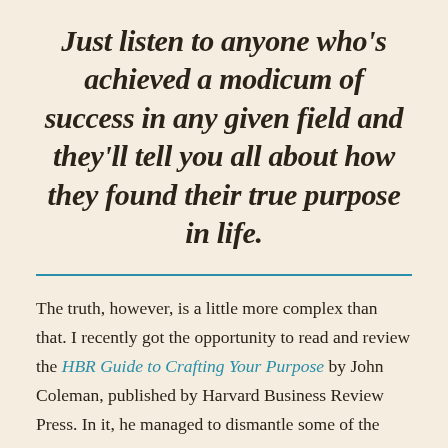Just listen to anyone who's achieved a modicum of success in any given field and they'll tell you all about how they found their true purpose in life.
The truth, however, is a little more complex than that. I recently got the opportunity to read and review the HBR Guide to Crafting Your Purpose by John Coleman, published by Harvard Business Review Press. In it, he managed to dismantle some of the